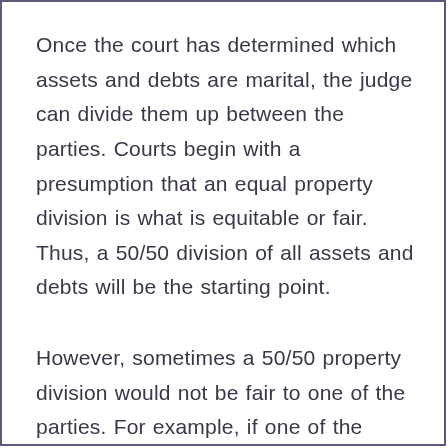Once the court has determined which assets and debts are marital, the judge can divide them up between the parties. Courts begin with a presumption that an equal property division is what is equitable or fair. Thus, a 50/50 division of all assets and debts will be the starting point.
However, sometimes a 50/50 property division would not be fair to one of the parties. For example, if one of the spouses is hiding or